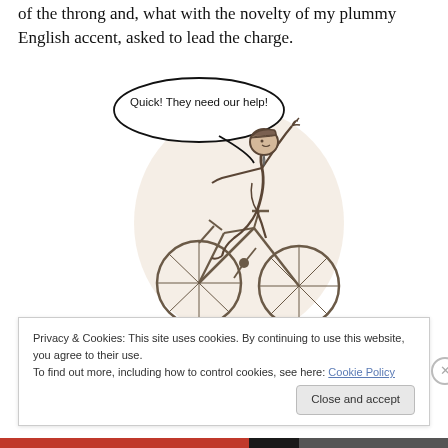of the throng and, what with the novelty of my plummy English accent, asked to lead the charge.
[Figure (illustration): Hand-drawn sketch of a man in a suit and cap riding a bicycle with one arm raised and a speech bubble saying 'Quick! They need our help!']
Privacy & Cookies: This site uses cookies. By continuing to use this website, you agree to their use.
To find out more, including how to control cookies, see here: Cookie Policy